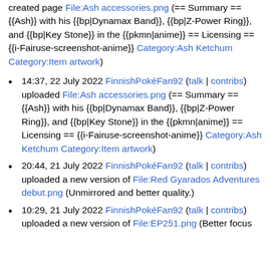created page File:Ash accessories.png (== Summary == {{Ash}} with his {{bp|Dynamax Band}}, {{bp|Z-Power Ring}}, and {{bp|Key Stone}} in the {{pkmn|anime}} == Licensing == {{i-Fairuse-screenshot-anime}} Category:Ash Ketchum Category:Item artwork)
14:37, 22 July 2022 FinnishPokéFan92 (talk | contribs) uploaded File:Ash accessories.png (== Summary == {{Ash}} with his {{bp|Dynamax Band}}, {{bp|Z-Power Ring}}, and {{bp|Key Stone}} in the {{pkmn|anime}} == Licensing == {{i-Fairuse-screenshot-anime}} Category:Ash Ketchum Category:Item artwork)
20:44, 21 July 2022 FinnishPokéFan92 (talk | contribs) uploaded a new version of File:Red Gyarados Adventures debut.png (Unmirrored and better quality.)
10:29, 21 July 2022 FinnishPokéFan92 (talk | contribs) uploaded a new version of File:EP251.png (Better focus